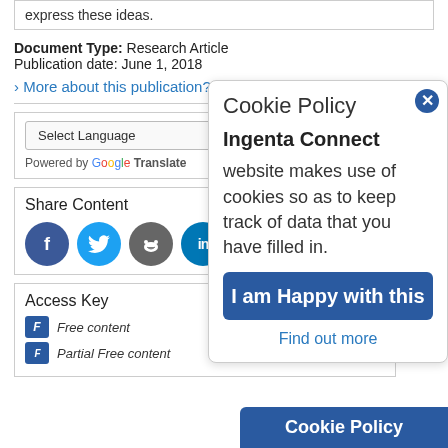express these ideas.
Document Type: Research Article
Publication date: June 1, 2018
> More about this publication?
Select Language
Powered by Google Translate
Share Content
Access Key
Free content
Partial Free content
Cookie Policy
Ingenta Connect website makes use of cookies so as to keep track of data that you have filled in.
I am Happy with this
Find out more
Cookie Policy